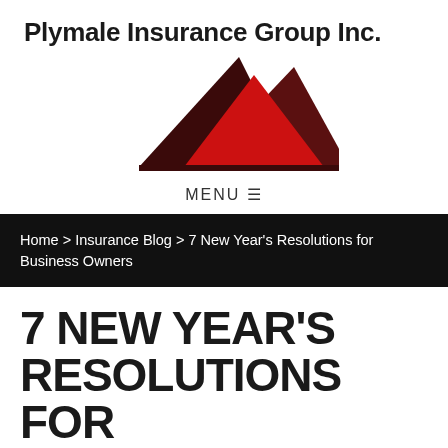Plymale Insurance Group Inc.
[Figure (logo): Three mountain triangle logo: two dark maroon triangles flanking a central red triangle, forming a mountain silhouette.]
MENU ≡
Home > Insurance Blog > 7 New Year's Resolutions for Business Owners
7 NEW YEAR'S RESOLUTIONS FOR